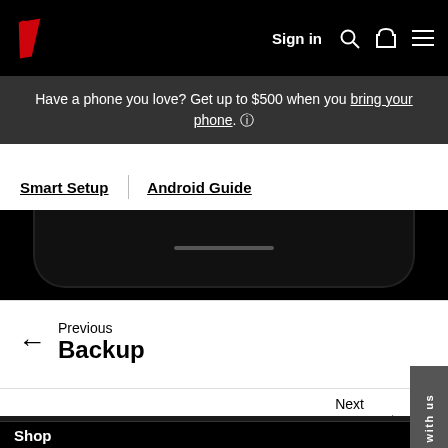Sign in
Have a phone you love? Get up to $500 when you bring your phone. ℹ
Smart Setup | Android Guide
[Figure (photo): Bottom portion of a black Android smartphone showing the home indicator bar]
Previous
Backup
Next
Finish Up
Shop